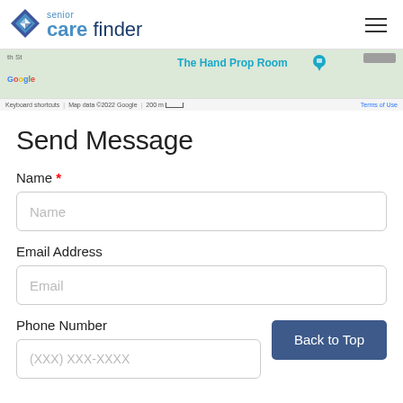senior care finder
[Figure (map): Google Maps screenshot showing The Hand Prop Room location with map attribution: Keyboard shortcuts | Map data ©2022 Google | 200 m scale bar | Terms of Use]
Send Message
Name *
Name (input placeholder)
Email Address
Email (input placeholder)
Phone Number
(XXX) XXX-XXXX (input placeholder)
Back to Top